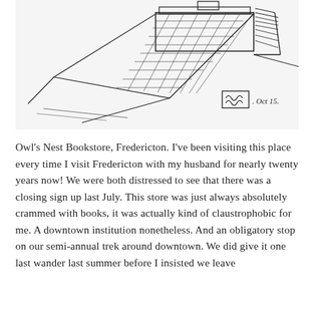[Figure (illustration): Hand-drawn ink sketch of Owl's Nest Bookstore building exterior, showing a low flat-roofed structure with a gridded roof/awning element extending outward. Signed with initials in a box and dated 'Oct 15.' in the lower right area.]
Owl's Nest Bookstore, Fredericton. I've been visiting this place every time I visit Fredericton with my husband for nearly twenty years now! We were both distressed to see that there was a closing sign up last July. This store was just always absolutely crammed with books, it was actually kind of claustrophobic for me. A downtown institution nonetheless. And an obligatory stop on our semi-annual trek around downtown. We did give it one last wander last summer before I insisted we leave because it was too crowded. I felt like I the store